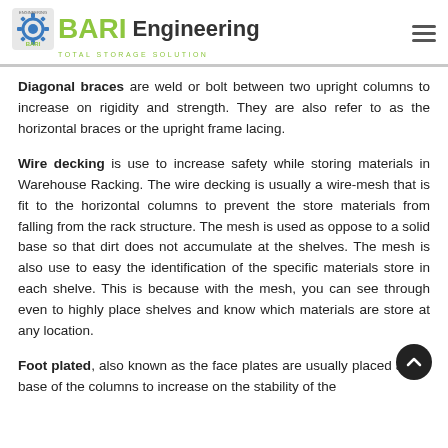BARI Engineering — TOTAL STORAGE SOLUTION
Diagonal braces are weld or bolt between two upright columns to increase on rigidity and strength. They are also refer to as the horizontal braces or the upright frame lacing.
Wire decking is use to increase safety while storing materials in Warehouse Racking. The wire decking is usually a wire-mesh that is fit to the horizontal columns to prevent the store materials from falling from the rack structure. The mesh is used as oppose to a solid base so that dirt does not accumulate at the shelves. The mesh is also use to easy the identification of the specific materials store in each shelve. This is because with the mesh, you can see through even to highly place shelves and know which materials are store at any location.
Foot plated, also known as the face plates are usually placed at the base of the columns to increase on the stability of the